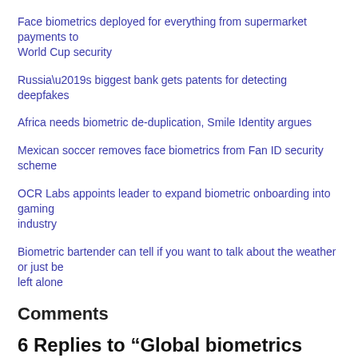Face biometrics deployed for everything from supermarket payments to World Cup security
Russia’s biggest bank gets patents for detecting deepfakes
Africa needs biometric de-duplication, Smile Identity argues
Mexican soccer removes face biometrics from Fan ID security scheme
OCR Labs appoints leader to expand biometric onboarding into gaming industry
Biometric bartender can tell if you want to talk about the weather or just be left alone
Comments
6 Replies to “Global biometrics market to reach $8.7B in 2013, $11.2B by 2014: report”
1. UmanickLABS says: December 16, 2013 at 4:09 pm